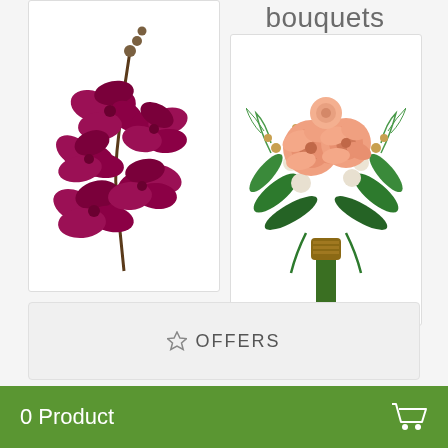bouquets
[Figure (photo): Dark magenta/purple orchid branch with multiple blooms and seed pods on white background]
[Figure (photo): Peach and white flower bouquet with green foliage tied with twine, on white background]
☆ OFFERS
0 Product